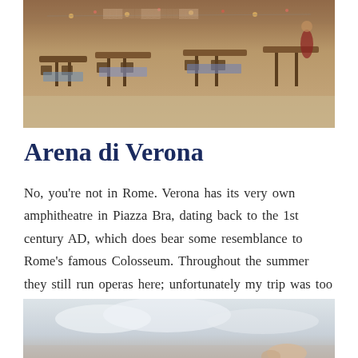[Figure (photo): Interior of Arena di Verona showing wooden dining tables and chairs set up inside the amphitheatre, with string lights and red floral decorations visible in the background]
Arena di Verona
No, you're not in Rome. Verona has its very own amphitheatre in Piazza Bra, dating back to the 1st century AD, which does bear some resemblance to Rome's famous Colosseum. Throughout the summer they still run operas here; unfortunately my trip was too early in the year to catch one. Tickets to tour the inside cost €10.
[Figure (photo): Partial view of the exterior or surroundings of Arena di Verona, showing sky and architectural elements at the bottom of the page]